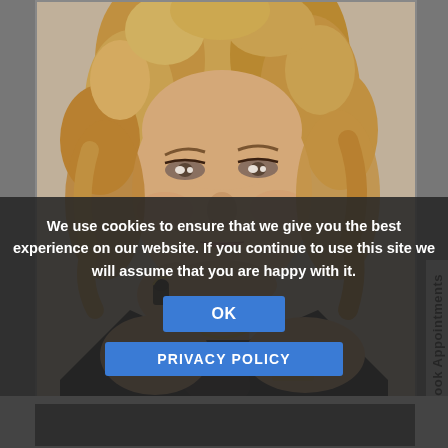[Figure (photo): Portrait photo of a blonde woman with curly hair wearing a black outfit and jewelry (ring, necklace, bracelet), posing with hands near chin against a light background. A vertical sidebar tab labeled 'Book Appointments' is visible on the right edge.]
We use cookies to ensure that we give you the best experience on our website. If you continue to use this site we will assume that you are happy with it.
OK
PRIVACY POLICY